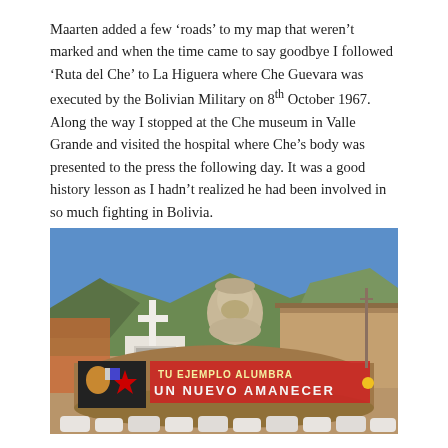Maarten added a few 'roads' to my map that weren't marked and when the time came to say goodbye I followed 'Ruta del Che' to La Higuera where Che Guevara was executed by the Bolivian Military on 8th October 1967. Along the way I stopped at the Che museum in Valle Grande and visited the hospital where Che's body was presented to the press the following day. It was a good history lesson as I hadn't realized he had been involved in so much fighting in Bolivia.
[Figure (photo): Outdoor monument in La Higuera, Bolivia: a large stone/rock bearing red painted text 'TU EJEMPLO ALUMBRA UN NUEVO AMANECER' with a painted Che Guevara portrait and flags on the left side. Behind the stone is a sculpted bust of Che Guevara and a white cross on a white pedestal. Adobe buildings and green-brown mountains are visible in the background under a bright blue sky.]